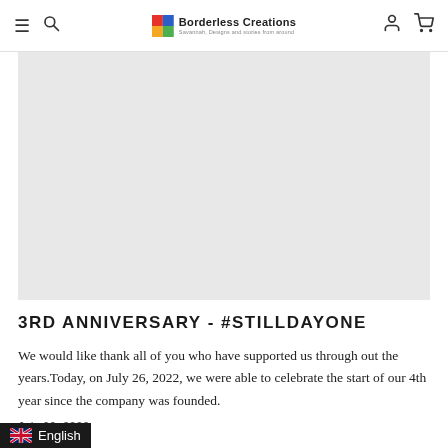Borderless Creations — navigation bar with hamburger menu, search, logo, account and cart icons
[Figure (photo): Large light grey image placeholder rectangle]
3RD ANNIVERSARY - #STILLDAYONE
We would like thank all of you who have supported us through out the years.Today, on July 26, 2022, we were able to celebrate the start of our 4th year since the company was founded.
July 26, 2022
English